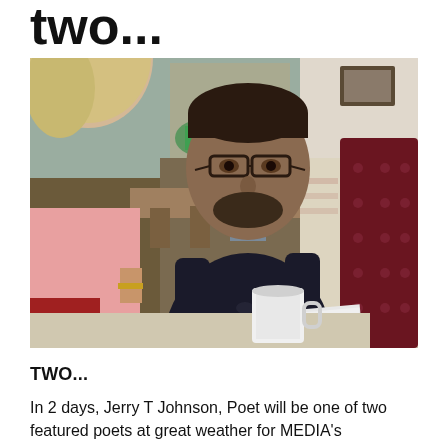two...
[Figure (photo): A man wearing glasses and a dark patterned sweater holds papers and speaks to a person in the foreground, seated at a diner or restaurant table with a white coffee mug. The background shows a mirror, brick wall, and a dark red booth seat.]
TWO...
In 2 days, Jerry T Johnson, Poet will be one of two featured poets at great weather for MEDIA's